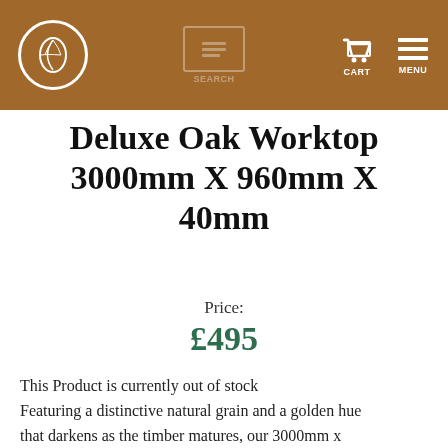Deluxe Oak Worktop — site header with logo, cart, menu
Deluxe Oak Worktop 3000mm X 960mm X 40mm
Price: £495
This Product is currently out of stock Featuring a distinctive natural grain and a golden hue that darkens as the timber matures, our 3000mm x 960mm x 40mm Deluxe Oak worktops look spectacular